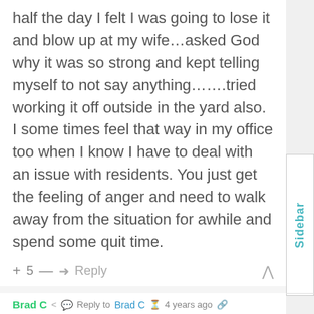half the day I felt I was going to lose it and blow up at my wife…asked God why it was so strong and kept telling myself to not say anything…….tried working it off outside in the yard also. I some times feel that way in my office too when I know I have to deal with an issue with residents. You just get the feeling of anger and need to walk away from the situation for awhile and spend some quit time.
+ 5 — → Reply ∧
Brad C  Reply to Brad C  4 years ago
....Quiet time